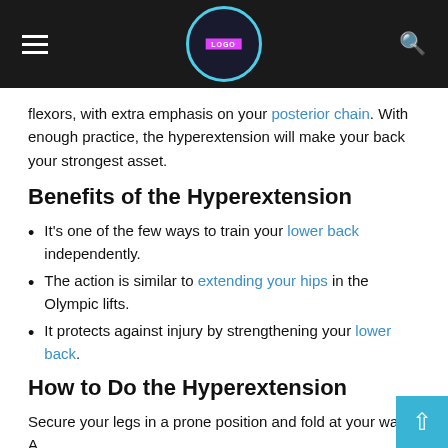Navigation header with hamburger menu, logo, and search icon
flexors, with extra emphasis on your posterior chain. With enough practice, the hyperextension will make your back your strongest asset.
Benefits of the Hyperextension
It's one of the few ways to train your lower back independently.
The action is similar to extending your hips in the Olympic lifts.
It protects against injury by strengthening your lower back.
How to Do the Hyperextension
Secure your legs in a prone position and fold at your waist. A